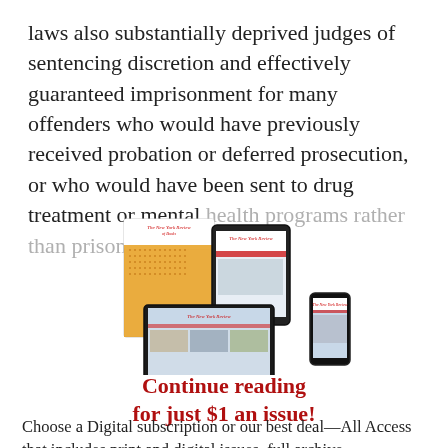laws also substantially deprived judges of sentencing discretion and effectively guaranteed imprisonment for many offenders who would have previously received probation or deferred prosecution, or who would have been sent to drug treatment or mental health programs rather than prison.
[Figure (illustration): Illustration of The New York Review of Books shown on multiple devices: a print magazine, a tablet, a laptop, and a smartphone.]
Continue reading for just $1 an issue!
Choose a Digital subscription or our best deal—All Access that includes print and digital issues, full archive